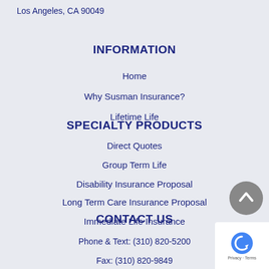Los Angeles, CA 90049
INFORMATION
Home
Why Susman Insurance?
Lifetime Life
SPECIALTY PRODUCTS
Direct Quotes
Group Term Life
Disability Insurance Proposal
Long Term Care Insurance Proposal
Immediate Life Insurance
CONTACT US
Phone & Text: (310) 820-5200
Fax: (310) 820-9849